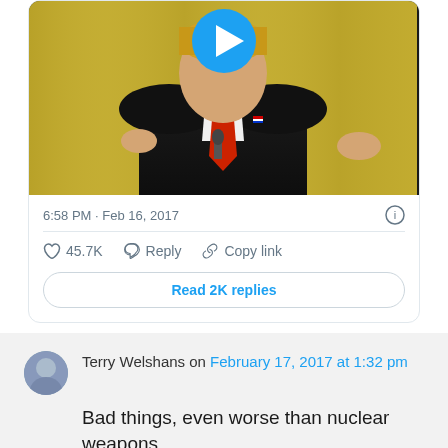[Figure (screenshot): Twitter/X embedded video thumbnail showing a person in dark suit with red tie at what appears to be a podium with yellow curtain background. A blue play button is overlaid at top center.]
6:58 PM · Feb 16, 2017
45.7K  Reply  Copy link
Read 2K replies
Terry Welshans on February 17, 2017 at 1:32 pm
Bad things, even worse than nuclear weapons